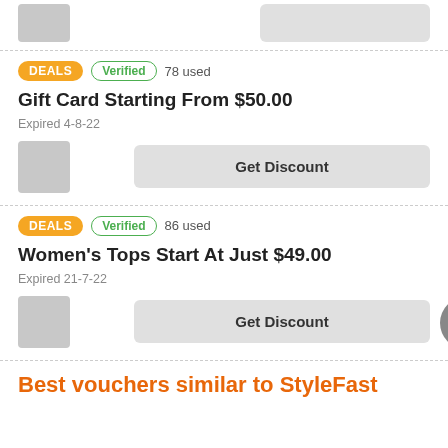[Figure (other): Partial card strip at top with image placeholder and button placeholder]
DEALS | Verified | 78 used
Gift Card Starting From $50.00
Expired 4-8-22
DEALS | Verified | 86 used
Women's Tops Start At Just $49.00
Expired 21-7-22
Best vouchers similar to StyleFast